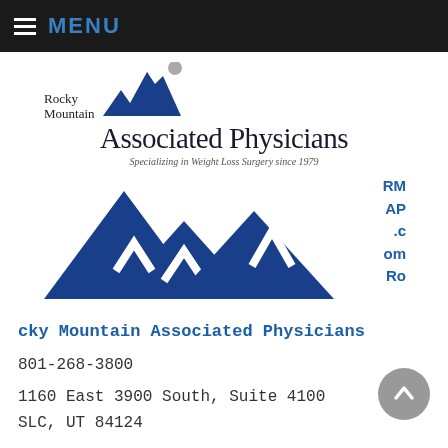MENU
[Figure (logo): Rocky Mountain Associated Physicians logo with blue mountain silhouettes and text 'Rocky Mountain Associated Physicians — Specializing in Weight Loss Surgery since 1979']
RMAP.com Rocky Mountain Associated Physicians
801-268-3800
1160 East 3900 South, Suite 4100
SLC, UT 84124